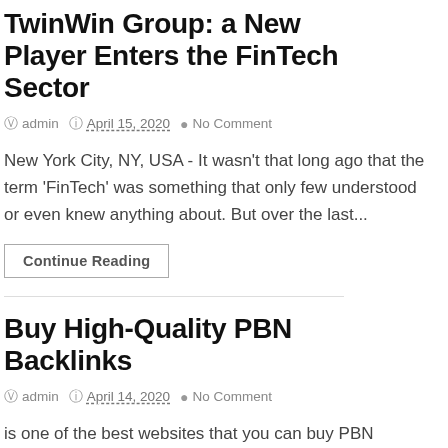TwinWin Group: a New Player Enters the FinTech Sector
admin   April 15, 2020   No Comment
New York City, NY, USA - It wasn't that long ago that the term 'FinTech' was something that only few understood or even knew anything about. But over the last...
Continue Reading
Buy High-Quality PBN Backlinks
admin   April 14, 2020   No Comment
is one of the best websites that you can buy PBN backlinks. If you are familiar with the